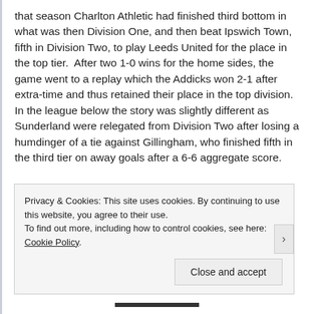that season Charlton Athletic had finished third bottom in what was then Division One, and then beat Ipswich Town, fifth in Division Two, to play Leeds United for the place in the top tier. After two 1-0 wins for the home sides, the game went to a replay which the Addicks won 2-1 after extra-time and thus retained their place in the top division. In the league below the story was slightly different as Sunderland were relegated from Division Two after losing a humdinger of a tie against Gillingham, who finished fifth in the third tier on away goals after a 6-6 aggregate score.
Privacy & Cookies: This site uses cookies. By continuing to use this website, you agree to their use.
To find out more, including how to control cookies, see here: Cookie Policy
Close and accept